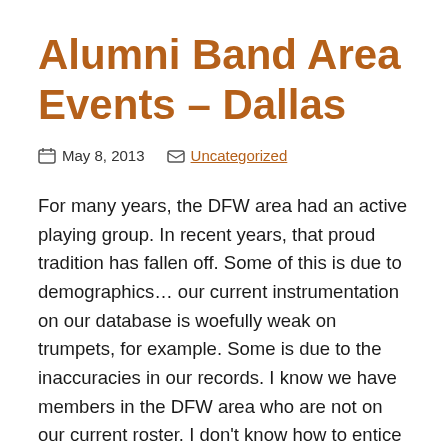Alumni Band Area Events – Dallas
May 8, 2013   Uncategorized
For many years, the DFW area had an active playing group. In recent years, that proud tradition has fallen off. Some of this is due to demographics… our current instrumentation on our database is woefully weak on trumpets, for example. Some is due to the inaccuracies in our records. I know we have members in the DFW area who are not on our current roster. I don't know how to entice more trumpet players to move to the Metroplex, but I believe we can rebuild our ensemble with some help